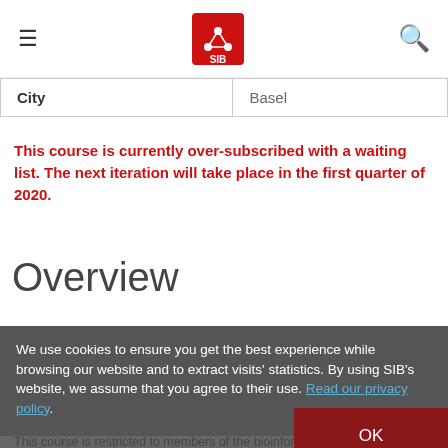SIB Swiss Institute of Bioinformatics navigation header with hamburger menu and search icon
| City | Basel |
| --- | --- |
| City | Basel |
This course is currently over-subscribed with a waiting list. The next iteration will take place in the first quarter of 2020.
Overview
This full-day course has a practical focus, where participants will be shown how to create and fine-tune state-of-the-art algorithms throughout this course.
Audience
We use cookies to ensure you get the best experience while browsing our website and to extract visits' statistics. By using SIB's website, we assume that you agree to their use. Read our privacy policy.
This course is restricted to members of the bioinformatics